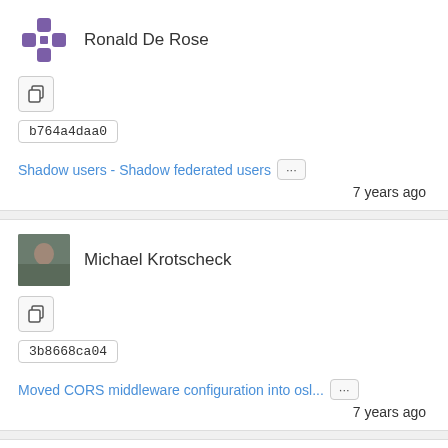[Figure (screenshot): Commit list UI showing three commits with user avatars, hash codes, commit messages, and timestamps]
Ronald De Rose
b764a4daa0
Shadow users - Shadow federated users
7 years ago
Michael Krotscheck
3b8668ca04
Moved CORS middleware configuration into osl...
7 years ago
werner mendizabal